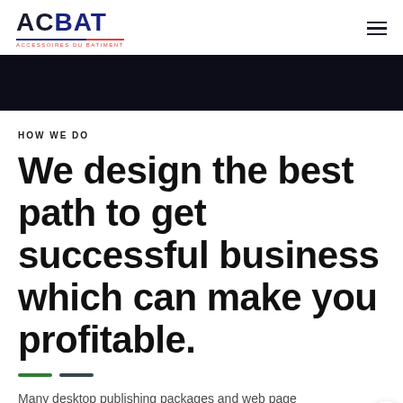ACBAT ACCESSOIRES DU BATIMENT
[Figure (illustration): Dark navy/black banner strip across the full width of the page]
HOW WE DO
We design the best path to get successful business which can make you profitable.
Many desktop publishing packages and web page